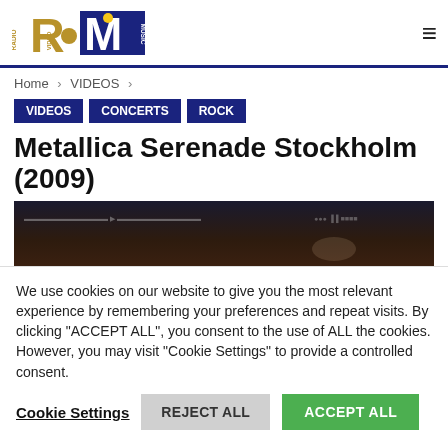RVM Radio Video Music — navigation header with logo and hamburger menu
Home > VIDEOS >
VIDEOS
CONCERTS
ROCK
Metallica Serenade Stockholm (2009)
[Figure (screenshot): Dark video thumbnail showing a blurred video player interface with dark background]
We use cookies on our website to give you the most relevant experience by remembering your preferences and repeat visits. By clicking "ACCEPT ALL", you consent to the use of ALL the cookies. However, you may visit "Cookie Settings" to provide a controlled consent.
Cookie Settings   REJECT ALL   ACCEPT ALL